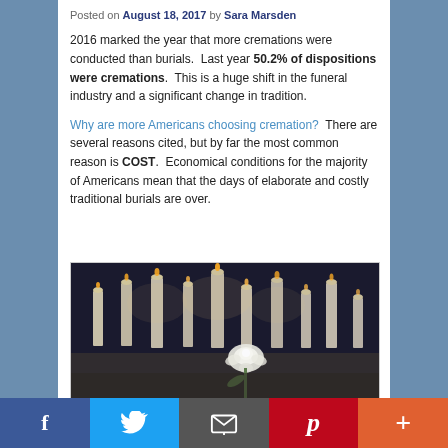Posted on August 18, 2017 by Sara Marsden
2016 marked the year that more cremations were conducted than burials.  Last year 50.2% of dispositions were cremations.  This is a huge shift in the funeral industry and a significant change in tradition.
Why are more Americans choosing cremation?  There are several reasons cited, but by far the most common reason is COST.  Economical conditions for the majority of Americans mean that the days of elaborate and costly traditional burials are over.
[Figure (photo): Photo of white candles and a white rose in a dark memorial/funeral setting]
Social share bar: Facebook, Twitter, Email, Pinterest, More